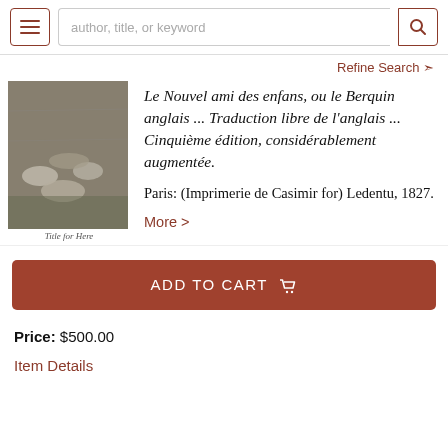author, title, or keyword [search bar with menu and search icons]
Refine Search ❯
[Figure (photo): Black and white photograph of sheep and a person lying in a field, with caption 'Title for Here']
Le Nouvel ami des enfans, ou le Berquin anglais ... Traduction libre de l'anglais ... Cinquième édition, considérablement augmentée.
Paris: (Imprimerie de Casimir for) Ledentu, 1827.
More >
ADD TO CART 🛒
Price: $500.00
Item Details